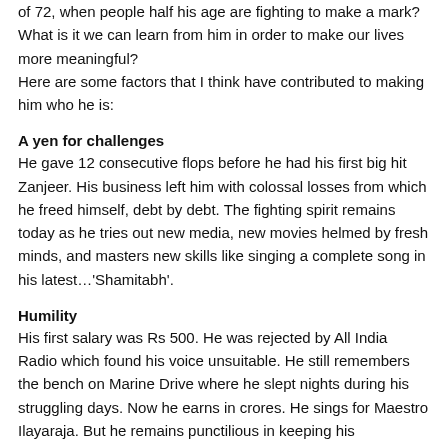of 72, when people half his age are fighting to make a mark? What is it we can learn from him in order to make our lives more meaningful?
Here are some factors that I think have contributed to making him who he is:
A yen for challenges
He gave 12 consecutive flops before he had his first big hit Zanjeer. His business left him with colossal losses from which he freed himself, debt by debt. The fighting spirit remains today as he tries out new media, new movies helmed by fresh minds, and masters new skills like singing a complete song in his latest…'Shamitabh'.
Humility
His first salary was Rs 500. He was rejected by All India Radio which found his voice unsuitable. He still remembers the bench on Marine Drive where he slept nights during his struggling days. Now he earns in crores. He sings for Maestro Ilayaraja. But he remains punctilious in keeping his commitments, never throwing his weight around. He is always polite and dignified. If this were a mask, it could not have been sustained over so many years. Hence, this could only be his true character.